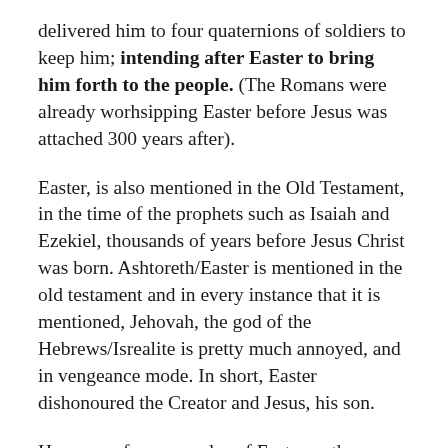delivered him to four quaternions of soldiers to keep him; intending after Easter to bring him forth to the people. (The Romans were already worhsipping Easter before Jesus was attached 300 years after).
Easter, is also mentioned in the Old Testament, in the time of the prophets such as Isaiah and Ezekiel, thousands of years before Jesus Christ was born. Ashtoreth/Easter is mentioned in the old testament and in every instance that it is mentioned, Jehovah, the god of the Hebrews/Isrealite is pretty much annoyed, and in vengeance mode. In short, Easter dishonoured the Creator and Jesus, his son.
Here are a few examples of Easter or the Queen